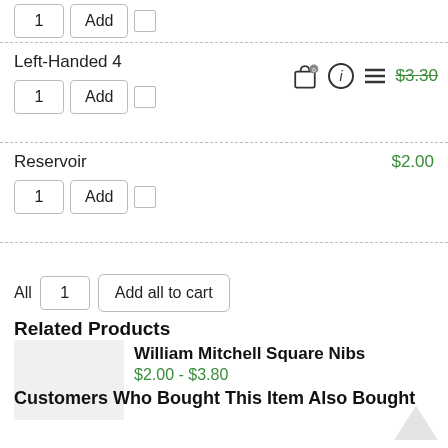1 | Add | (checkbox)
Left-Handed 4
$3.30 (struck through)
1 | Add | (checkbox)
Reservoir
$2.00
1 | Add | (checkbox)
All 1 | Add all to cart
Related Products
William Mitchell Square Nibs
$2.00 - $3.80
Customers Who Bought This Item Also Bought